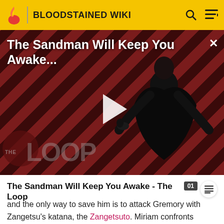BLOODSTAINED WIKI
[Figure (screenshot): Video thumbnail for 'The Sandman Will Keep You Awake...' showing a dark figure in black cape against red and black diagonal striped background with 'THE LOOP' watermark and a play button overlay]
The Sandman Will Keep You Awake - The Loop
and the only way to save him is to attack Gremory with Zangetsu's katana, the Zangetsuto. Miriam confronts Gebel in the castle's throne room and rather than slay